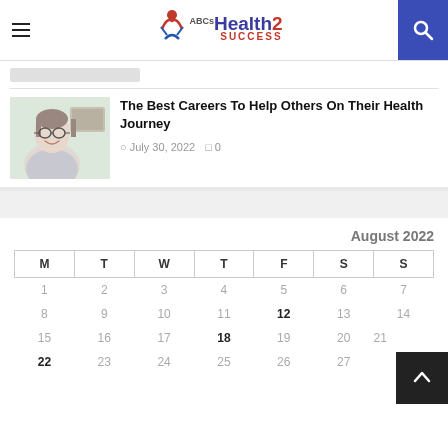ABCs Health2 Success
[Figure (photo): Woman with glasses smiling, health professional portrait]
The Best Careers To Help Others On Their Health Journey
July 30, 2022  0
| M | T | W | T | F | S | S |
| --- | --- | --- | --- | --- | --- | --- |
| 1 | 2 | 3 | 4 | 5 | 6 | 7 |
| 8 | 9 | 10 | 11 | 12 | 13 | 14 |
| 15 | 16 | 17 | 18 | 19 | 20 | 21 |
| 22 | 23 | 24 | 25 | 26 | 27 | 28 |
August 2022